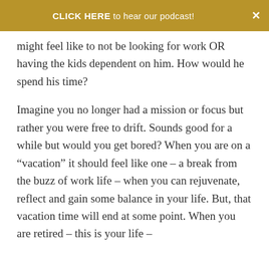CLICK HERE to hear our podcast!
might feel like to not be looking for work OR having the kids dependent on him. How would he spend his time?
Imagine you no longer had a mission or focus but rather you were free to drift. Sounds good for a while but would you get bored? When you are on a “vacation” it should feel like one – a break from the buzz of work life – when you can rejuvenate, reflect and gain some balance in your life. But, that vacation time will end at some point. When you are retired – this is your life –